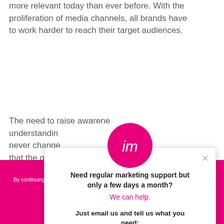Promotional and marketing materials are more relevant today than ever before. With the proliferation of media channels, all brands have to work harder to reach their target audiences.
The need to raise awareness, understanding... never change... that the quality of brand assets and visual appeal, carefully managed, make an impact; th...
[Figure (infographic): Popup modal with IM London logo (pink circle with 'im' text), headline 'Need regular marketing support but only a few days a month?', pink text 'We can help.', and email contact info: hello@imlondon.co.uk or hello@imdubai.ae]
By continuing to use the site, you agree to the use of cookies. See our Privacy Policy
ACCEPT